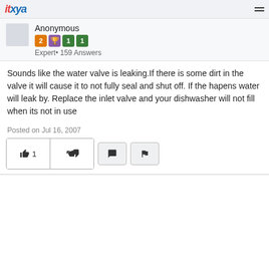itxya
Anonymous
Expert • 159 Answers
Sounds like the water valve is leaking.If there is some dirt in the valve it will cause it to not fully seal and shut off. If the hapens water will leak by. Replace the inlet valve and your dishwasher will not fill when its not in use
Posted on Jul 16, 2007